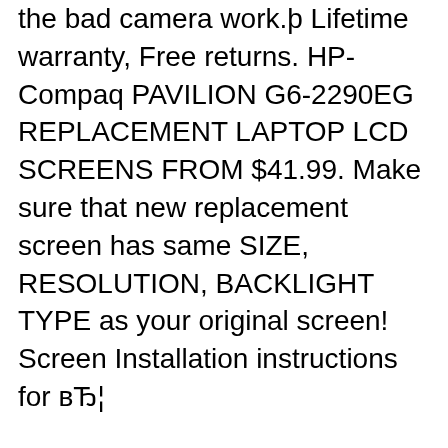the bad camera work.þ Lifetime warranty, Free returns. HP-Compaq PAVILION G6-2290EG REPLACEMENT LAPTOP LCD SCREENS FROM $41.99. Make sure that new replacement screen has same SIZE, RESOLUTION, BACKLIGHT TYPE as your original screen! Screen Installation instructions for в…
Free 2-day shipping. Buy CWKB® New Replacement Laptop Notebook Battery for HP Pavilion G7-2254CA G7-2257NR G7-2259NR G7-2283NR G7-2285NR G7-1323NR G7-1326DX G7-2118NR G7-2224NR G7-2235DX G6-2346NR G6-2372NR G6-2376NR at Walmart.com Related Products for "Hewlett Packard